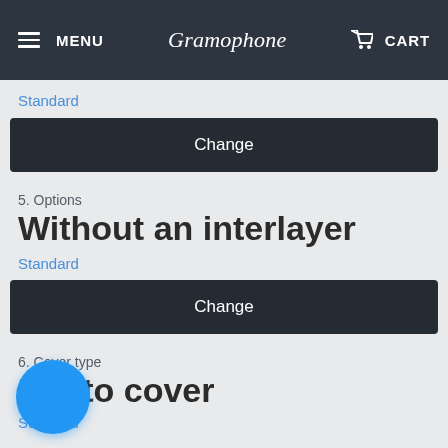MENU | Gramophone | CART
Standard
Change
5. Options
Without an interlayer
Standard
Change
6. Cover type
Photo cover
Standard
[Figure (other): Blue circular floating action button in bottom-left corner]